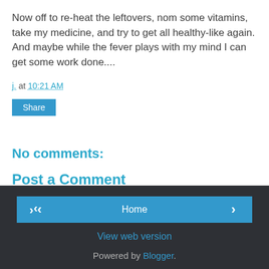Now off to re-heat the leftovers, nom some vitamins, take my medicine, and try to get all healthy-like again. And maybe while the fever plays with my mind I can get some work done....
j. at 10:21 AM
Share
No comments:
Post a Comment
Home | View web version | Powered by Blogger.